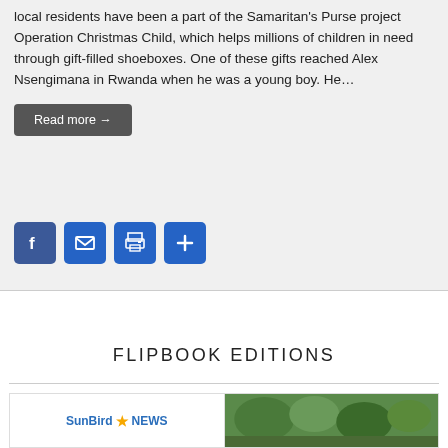local residents have been a part of the Samaritan's Purse project Operation Christmas Child, which helps millions of children in need through gift-filled shoeboxes. One of these gifts reached Alex Nsengimana in Rwanda when he was a young boy. He...
Read more →
[Figure (infographic): Row of four blue social sharing icon buttons: Facebook (F), Email (envelope), Print (printer), Share (plus sign)]
FLIPBOOK EDITIONS
[Figure (infographic): Two flipbook edition thumbnails side by side: left shows SunBird News logo in blue with an orange star, right shows a photo with green foliage/trees]